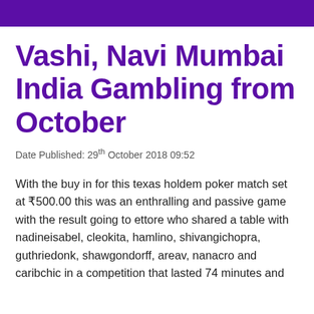Vashi, Navi Mumbai India Gambling from October
Date Published: 29th October 2018 09:52
With the buy in for this texas holdem poker match set at ₹500.00 this was an enthralling and passive game with the result going to ettore who shared a table with nadineisabel, cleokita, hamlino, shivangichopra, guthriedonk, shawgondorff, areav, nanacro and caribchic in a competition that lasted 74 minutes and